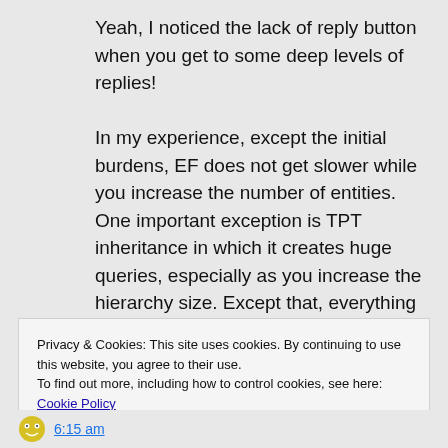Yeah, I noticed the lack of reply button when you get to some deep levels of replies!
In my experience, except the initial burdens, EF does not get slower while you increase the number of entities. One important exception is TPT inheritance in which it creates huge queries, especially as you increase the hierarchy size. Except that, everything is OK.
Privacy & Cookies: This site uses cookies. By continuing to use this website, you agree to their use.
To find out more, including how to control cookies, see here: Cookie Policy